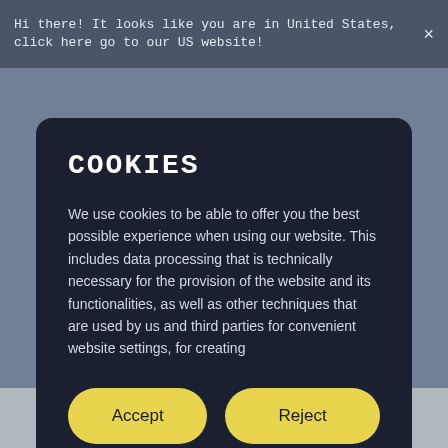Hi there! It looks like you are in United States, click here go to our US website!
COOKIES
We use cookies to be able to offer you the best possible experience when using our website. This includes data processing that is technically necessary for the provision of the website and its functionalities, as well as other techniques that are used by us and third parties for convenient website settings, for creating
Accept
Reject
Cookie Settings